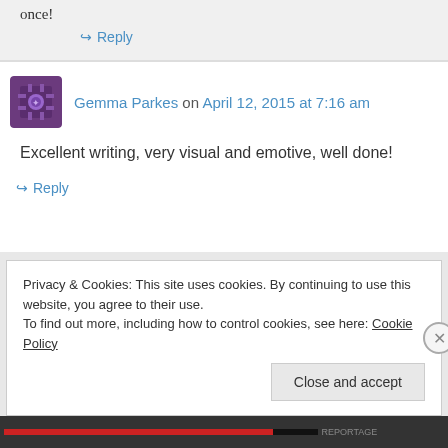once!
↪ Reply
Gemma Parkes on April 12, 2015 at 7:16 am
Excellent writing, very visual and emotive, well done!
↪ Reply
Privacy & Cookies: This site uses cookies. By continuing to use this website, you agree to their use.
To find out more, including how to control cookies, see here: Cookie Policy
Close and accept